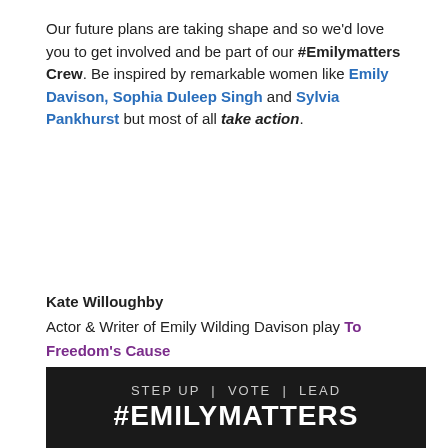Our future plans are taking shape and so we'd love you to get involved and be part of our #Emilymatters Crew. Be inspired by remarkable women like Emily Davison, Sophia Duleep Singh and Sylvia Pankhurst but most of all take action.
Kate Willoughby
Actor & Writer of Emily Wilding Davison play To Freedom's Cause
[Figure (photo): Dark promotional banner with text 'STEP UP | VOTE | LEAD' and '#EMILYMATTERS' in large white letters on black background, followed by a photo of women in black clothing on a stage.]